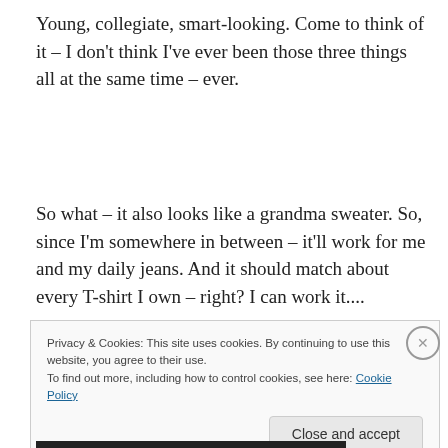Young, collegiate, smart-looking. Come to think of it – I don't think I've ever been those three things all at the same time – ever.
So what – it also looks like a grandma sweater. So, since I'm somewhere in between – it'll work for me and my daily jeans. And it should match about every T-shirt I own – right? I can work it....
Privacy & Cookies: This site uses cookies. By continuing to use this website, you agree to their use.
To find out more, including how to control cookies, see here: Cookie Policy